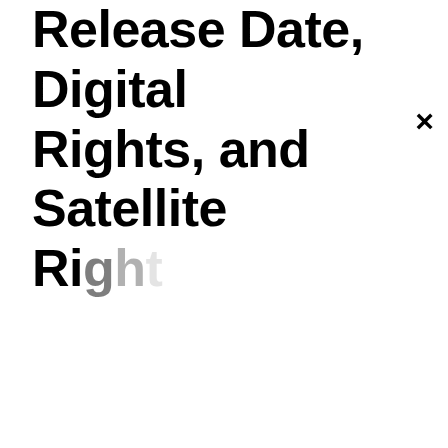Release Date, Digital Rights, and Satellite Rights
×